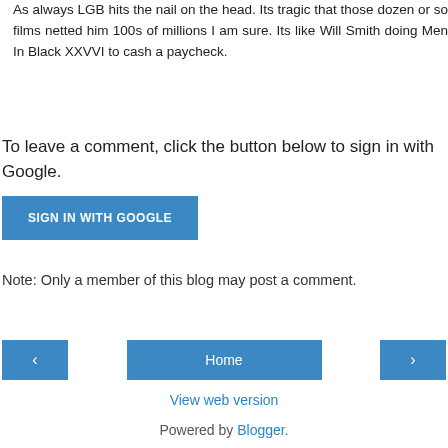As always LGB hits the nail on the head. Its tragic that those dozen or so films netted him 100s of millions I am sure. Its like Will Smith doing Men In Black XXVVI to cash a paycheck.
Reply
To leave a comment, click the button below to sign in with Google.
[Figure (other): Blue button labeled SIGN IN WITH GOOGLE]
Note: Only a member of this blog may post a comment.
[Figure (other): Navigation bar with left arrow button, Home button, and right arrow button]
View web version
Powered by Blogger.